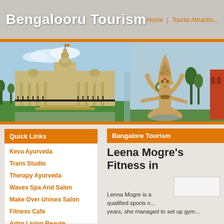Bengalooru Tourism
Home | Tourist Attractio...
[Figure (photo): Banner image showing Vidhana Soudha building on the left and a large Shiva statue in the center with a red building partially visible on the right]
Quick Links
Keva Ayurveda
Trans Studio
Therapy Ayurveda
Waves Spa And Salon
Make Over Unisex Salon
Fitness Cafe
Bangalore Tourism
Leena Mogre's Fitness in
Lenna Mogre is a qualified sports n... years, she managed to set up gym...